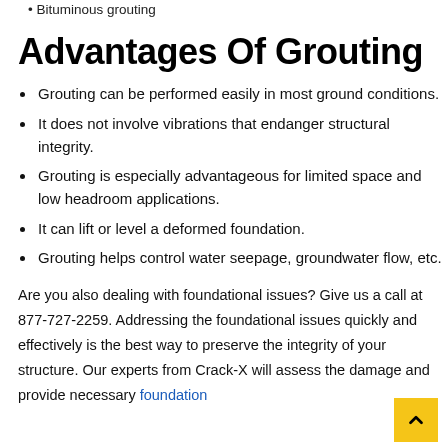Bituminous grouting
Advantages Of Grouting
Grouting can be performed easily in most ground conditions.
It does not involve vibrations that endanger structural integrity.
Grouting is especially advantageous for limited space and low headroom applications.
It can lift or level a deformed foundation.
Grouting helps control water seepage, groundwater flow, etc.
Are you also dealing with foundational issues? Give us a call at 877-727-2259. Addressing the foundational issues quickly and effectively is the best way to preserve the integrity of your structure. Our experts from Crack-X will assess the damage and provide necessary foundation